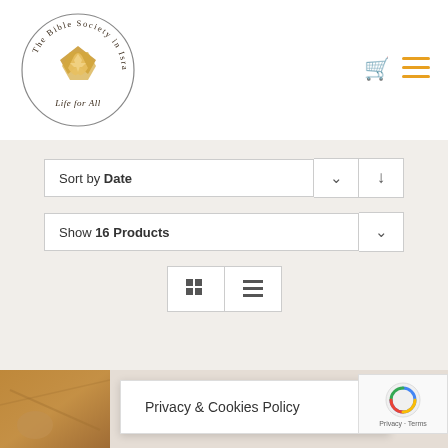[Figure (logo): The Bible Society in Israel circular logo with gold ribbon/cross emblem and cursive tagline 'Life for All']
[Figure (infographic): Shopping cart icon in orange/gold color]
[Figure (infographic): Hamburger menu icon with three horizontal lines in orange/gold color]
Sort by Date
Show 16 Products
[Figure (infographic): Grid view and list view toggle buttons]
Mosaic C... Large
Privacy & Cookies Policy